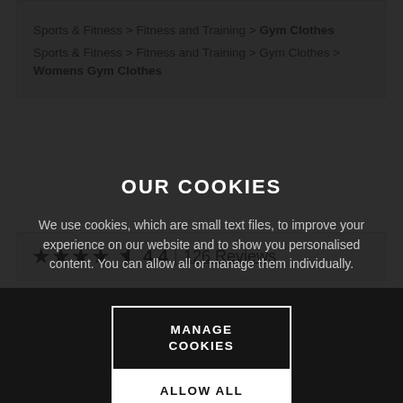Sports & Fitness > Fitness and Training > Gym Clothes
Sports & Fitness > Fitness and Training > Gym Clothes > Womens Gym Clothes
★★★★½  4.4  |  126 Reviews
OUR COOKIES
We use cookies, which are small text files, to improve your experience on our website and to show you personalised content. You can allow all or manage them individually.
MANAGE COOKIES
ALLOW ALL